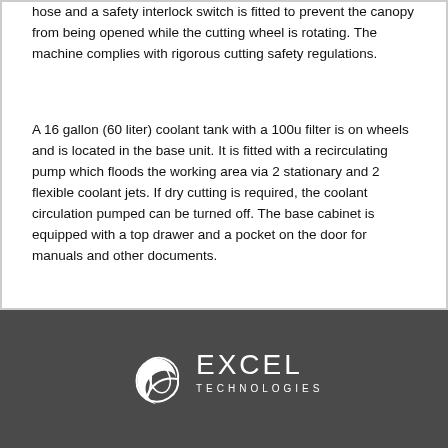hose and a safety interlock switch is fitted to prevent the canopy from being opened while the cutting wheel is rotating. The machine complies with rigorous cutting safety regulations.
A 16 gallon (60 liter) coolant tank with a 100u filter is on wheels and is located in the base unit. It is fitted with a recirculating pump which floods the working area via 2 stationary and 2 flexible coolant jets. If dry cutting is required, the coolant circulation pumped can be turned off. The base cabinet is equipped with a top drawer and a pocket on the door for manuals and other documents.
[Figure (logo): Excel Technologies, Inc. logo in white on dark grey background]